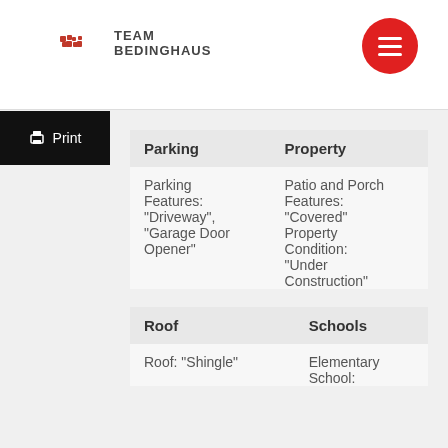Team Bedinghaus
| Parking | Property |
| --- | --- |
| Parking Features: "Driveway", "Garage Door Opener" | Patio and Porch Features: "Covered" Property Condition: "Under Construction" |
| Roof | Schools |
| --- | --- |
| Roof: "Shingle" | Elementary School: |